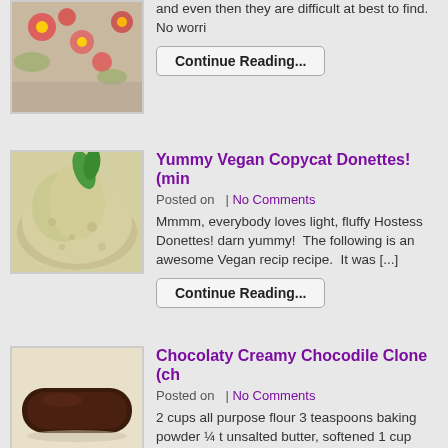[Figure (photo): Close-up photo of floral fabric or textile with colorful flower patterns]
and even then they are difficult at best to find.  No worri
Continue Reading...
[Figure (photo): Close-up photo of light-colored creamy dough or batter with green herb]
Yummy Vegan Copycat Donettes! (min
Posted on  | No Comments
Mmmm, everybody loves light, fluffy Hostess Donettes! darn yummy!  The following is an awesome Vegan recip recipe.  It was [...]
Continue Reading...
[Figure (photo): Photo of a chocolate-coated Chocodile/Twinkie snack cake on a light background]
Chocolaty Creamy Chocodile Clone (ch
Posted on  | No Comments
2 cups all purpose flour 3 teaspoons baking powder ¼ t unsalted butter, softened 1 cup sugar 2 large eggs 1 tea Twinkie Cream (From Todd Wilbur) 2 teaspoons very h
Continue Reading...